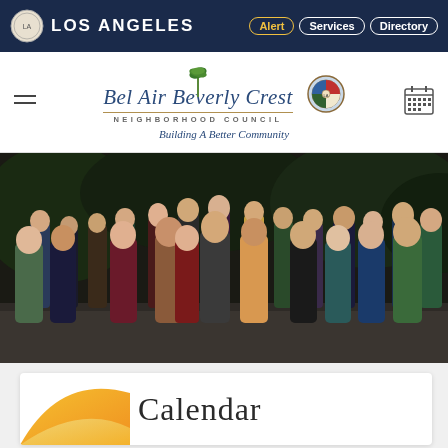LOS ANGELES — Alert | Services | Directory
[Figure (logo): Bel Air Beverly Crest Neighborhood Council logo with palm tree graphic and city seal, tagline: Building A Better Community]
[Figure (photo): Group photo of approximately 20 people (neighborhood council members) standing together at an outdoor evening event]
Calendar